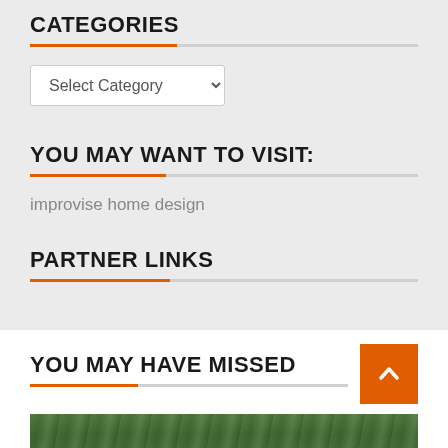CATEGORIES
Select Category
YOU MAY WANT TO VISIT:
improvise home design
PARTNER LINKS
YOU MAY HAVE MISSED
[Figure (photo): Outdoor forest/trees photo strip at the bottom of the page]